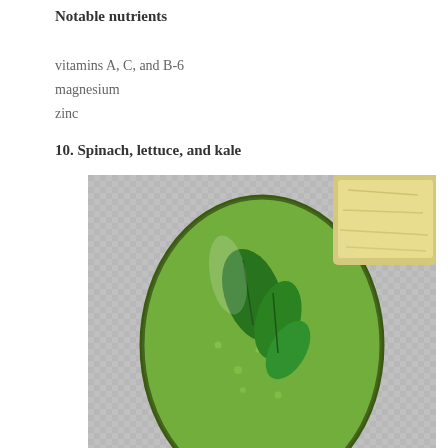Notable nutrients
vitamins A, C, and B-6
magnesium
zinc
10. Spinach, lettuce, and kale
[Figure (photo): Top-down view of a green smoothie in a glass garnished with fresh mint leaves, with a piece of banana visible in the upper right corner, placed on a white waffle-textured surface.]